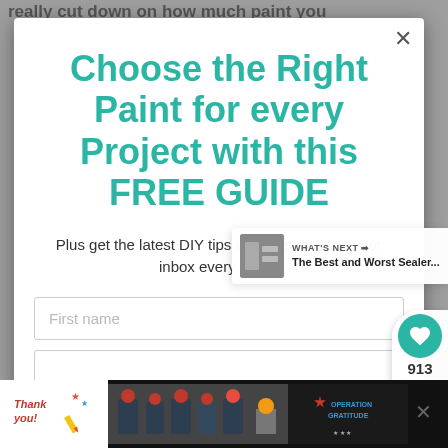really cut down on how much paint you
Choose the Right Paint for every Project with this FREE GUIDE
Plus get the latest DIY tips and inspiration in your inbox every week!
First name
[Figure (screenshot): Advertisement banner for Operation Gratitude at the bottom of the page, featuring a 'Thank you!' image with firefighters and the Operation Gratitude logo.]